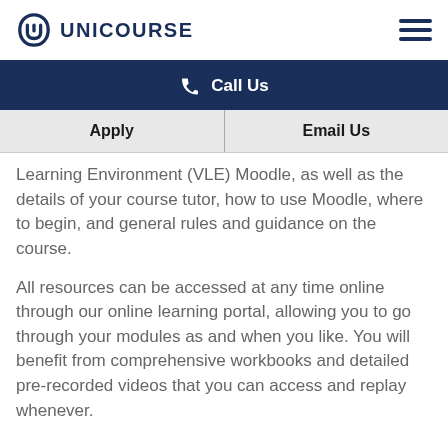UNICOURSE
Call Us
Apply | Email Us
Learning Environment (VLE) Moodle, as well as the details of your course tutor, how to use Moodle, where to begin, and general rules and guidance on the course.
All resources can be accessed at any time online through our online learning portal, allowing you to go through your modules as and when you like. You will benefit from comprehensive workbooks and detailed pre-recorded videos that you can access and replay whenever.